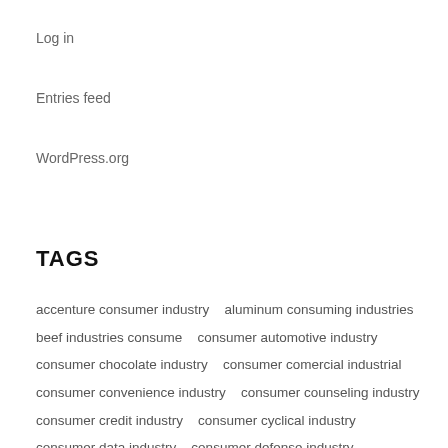Log in
Entries feed
WordPress.org
TAGS
accenture consumer industry   aluminum consuming industries   beef industries consume   consumer automotive industry   consumer chocolate industry   consumer comercial industrial   consumer convenience industry   consumer counseling industry   consumer credit industry   consumer cyclical industry   consumer data industry   consumer defense industry   consumer device industry   consumer discretionary industry   consumer discretionaty industries   consumer good industry